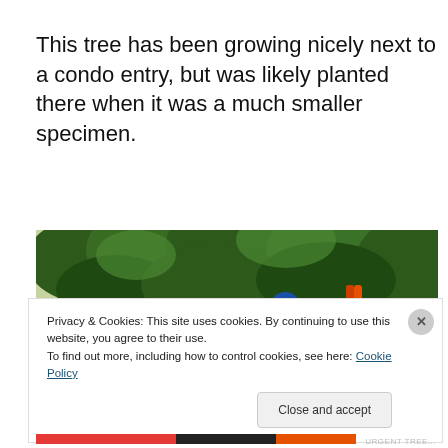This tree has been growing nicely next to a condo entry, but was likely planted there when it was a much smaller specimen.
[Figure (photo): Photograph of a tree with dense green foliage next to a building; a person in blue and orange equipment visible underneath the canopy.]
Privacy & Cookies: This site uses cookies. By continuing to use this website, you agree to their use.
To find out more, including how to control cookies, see here: Cookie Policy